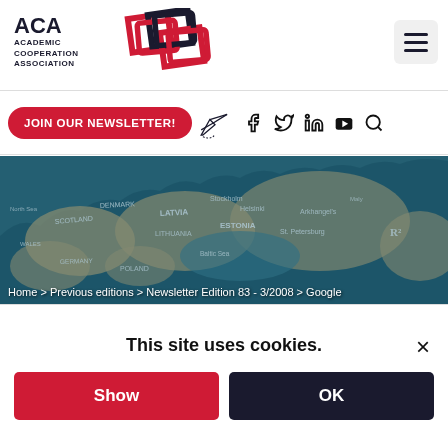[Figure (logo): ACA Academic Cooperation Association logo with interlocking diamond shapes in red and dark blue]
[Figure (screenshot): Navigation bar with JOIN OUR NEWSLETTER button, paper plane icon, and social media icons for Facebook, Twitter, LinkedIn, YouTube, and Search]
[Figure (photo): Aerial map view of Northern Europe including Scandinavia, Baltic states, and surrounding regions with teal overlay]
Home > Previous editions > Newsletter Edition 83 - 3/2008 > Google
This site uses cookies.
Show
OK